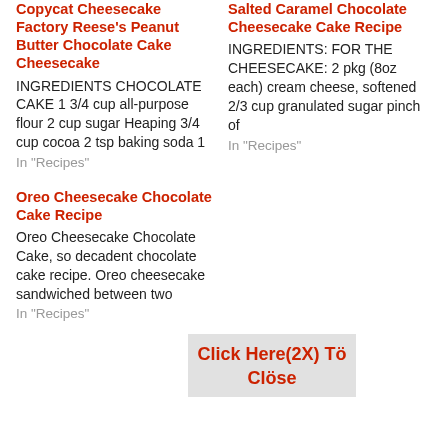Copycat Cheesecake Factory Reese's Peanut Butter Chocolate Cake Cheesecake
INGREDIENTS CHOCOLATE CAKE 1 3/4 cup all-purpose flour 2 cup sugar Heaping 3/4 cup cocoa 2 tsp baking soda 1
In "Recipes"
Salted Caramel Chocolate Cheesecake Cake Recipe
INGREDIENTS: FOR THE CHEESECAKE: 2 pkg (8oz each) cream cheese, softened 2/3 cup granulated sugar pinch of
In "Recipes"
Oreo Cheesecake Chocolate Cake Recipe
Oreo Cheesecake Chocolate Cake, so decadent chocolate cake recipe. Oreo cheesecake sandwiched between two
In "Recipes"
Click Here(2X) Tö Clöse